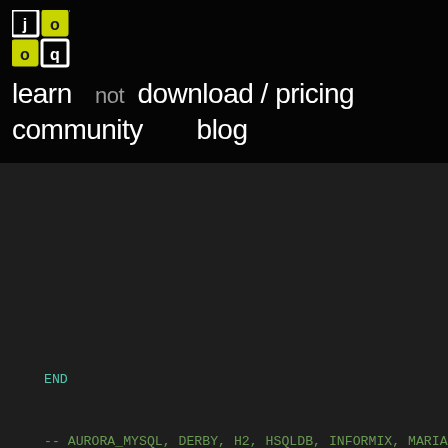[Figure (screenshot): jOOQ website navigation overlay on dark SQL code editor showing learn, download/pricing, community, blog nav links with jOOQ logo]
CASE
    WHEN max(CASE
        WHEN BOOK.ID >= 4 THEN 1
        ELSE 0
    END) = 1 THEN 1
    NOT
        WHEN BOOK.ID >= 4 THEN 1
        END) = 1) THEN 0
    ...
END
-- AURORA_MYSQL, DERBY, H2, HSQLDB, INFORMIX, MARIADB, ME...
(max(CASE
  WHEN BOOK.ID >= 4 THEN 1
  ELSE 0
END) = 1)
-- AURORA_POSTGRES, COCKROACHDB, POSTGRES, VERTICA, YUGABY...
bool_or((BOOK.ID >= 4))
-- BIGQUERY
logical_or((BOOK.ID >= 4))
-- EXASOL
any((BOOK.ID >= 4))